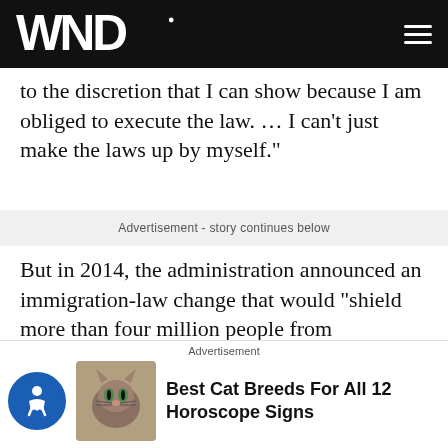WND
to the discretion that I can show because I am obliged to execute the law. … I can't just make the laws up by myself."
Advertisement - story continues below
But in 2014, the administration announced an immigration-law change that would "shield more than four million people from deportation," NBC said.
Texas, and more than two dozen other states sued, because of the massive new demands for public service
Advertisement
Best Cat Breeds For All 12 Horoscope Signs